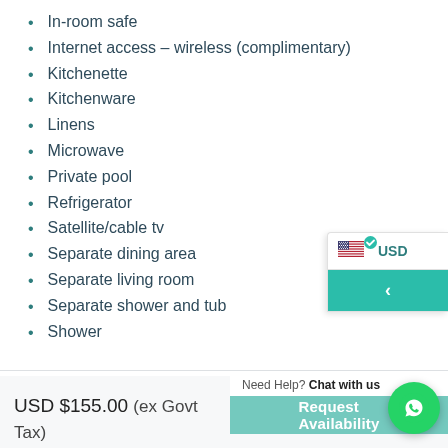In-room safe
Internet access – wireless (complimentary)
Kitchenette
Kitchenware
Linens
Microwave
Private pool
Refrigerator
Satellite/cable tv
Separate dining area
Separate living room
Separate shower and tub
Shower
USD $155.00 (ex Govt Tax)
Need Help? Chat with us
Request Availability